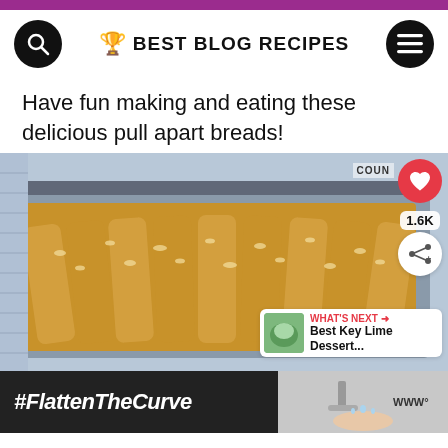BEST BLOG RECIPES
Have fun making and eating these delicious pull apart breads!
[Figure (photo): Pull apart bread in a metal loaf pan, topped with chopped nuts, golden brown, viewed from above at an angle. Overlaid UI elements include a heart/save button (1.6K), a share button, and a 'What's Next' card showing Best Key Lime Dessert...]
[Figure (screenshot): Advertisement bar at the bottom showing '#FlattenTheCurve' text on dark background with a hand-washing image on the right and a close button]